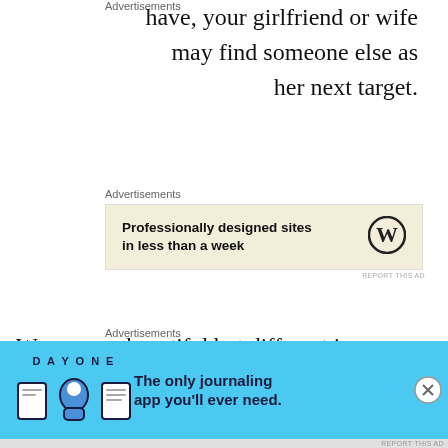have, your girlfriend or wife may find someone else as her next target.
Advertisements
[Figure (other): WordPress advertisement: Professionally designed sites in less than a week]
Women are beautiful but different in appearance, character, etc. You as an American or Western man have a choice. If you want an American woman still, you may face difficulties. What if she does not want a friendship with
Advertisements
[Figure (other): Day One journaling app advertisement: The only journaling app you'll ever need.]